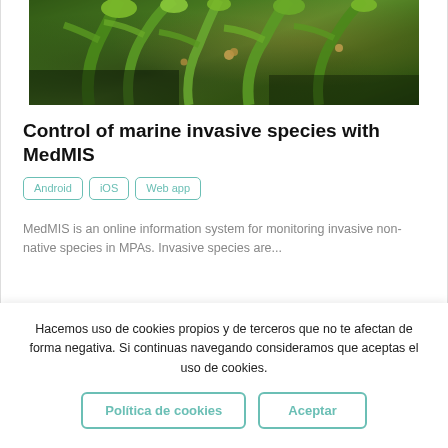[Figure (photo): Close-up underwater photo of green marine algae/seaweed with small marine organisms attached, dark background]
Control of marine invasive species with MedMIS
Android   iOS   Web app
MedMIS is an online information system for monitoring invasive non-native species in MPAs. Invasive species are...
Hacemos uso de cookies propios y de terceros que no te afectan de forma negativa. Si continuas navegando consideramos que aceptas el uso de cookies.
Política de cookies   Aceptar